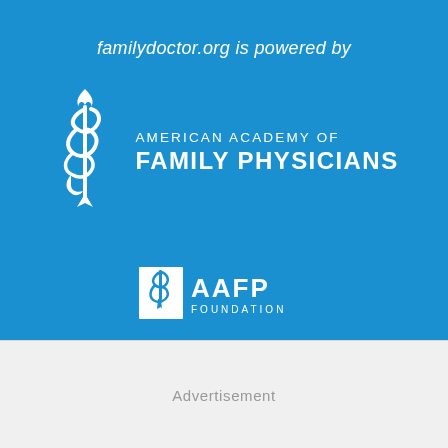familydoctor.org is powered by
[Figure (logo): American Academy of Family Physicians logo with Rod of Asclepius symbol and text: AMERICAN ACADEMY OF FAMILY PHYSICIANS]
[Figure (logo): AAFP Foundation logo with small shield/rod icon and text: AAFP FOUNDATION]
Advertisement